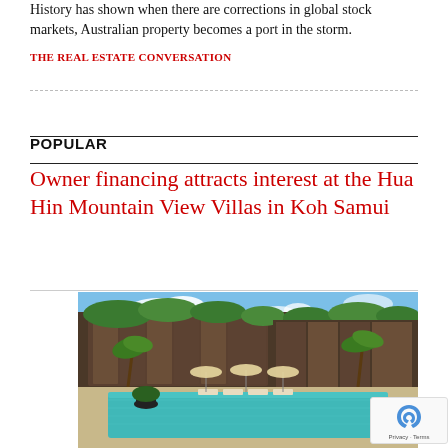History has shown when there are corrections in global stock markets, Australian property becomes a port in the storm.
THE REAL ESTATE CONVERSATION
POPULAR
Owner financing attracts interest at the Hua Hin Mountain View Villas in Koh Samui
[Figure (photo): Exterior rendering of Hua Hin Mountain View Villas in Koh Samui showing a luxury tropical villa with wood and stone facade, lush green vegetation on roof terraces, palm trees, a turquoise swimming pool with lounge chairs and umbrellas in the foreground, under a partly cloudy blue sky.]